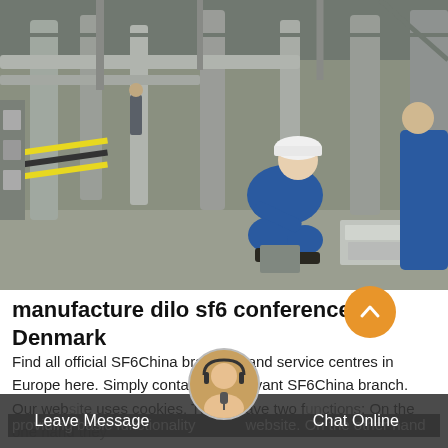[Figure (photo): Industrial facility interior showing a worker in blue coveralls and white hard hat crouching down working on equipment at floor level. Yellow caution tape visible on left. Another worker in blue partially visible on right side. Industrial pipes and machinery in background.]
manufacture dilo sf6 conference Denmark
Find all official SF6China branches and service centres in Europe here. Simply contact the relevant SF6China branch. Our website uses cookies. These have two functions: On the one hand they providing basic functionality website. On the other hand they allow us
Leave Message
Chat Online